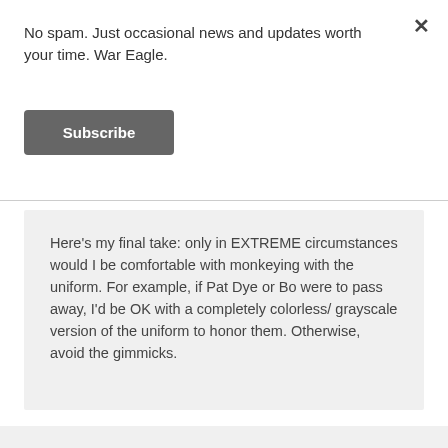No spam. Just occasional news and updates worth your time. War Eagle.
Subscribe
Here's my final take: only in EXTREME circumstances would I be comfortable with monkeying with the uniform. For example, if Pat Dye or Bo were to pass away, I'd be OK with a completely colorless/ grayscale version of the uniform to honor them. Otherwise, avoid the gimmicks.